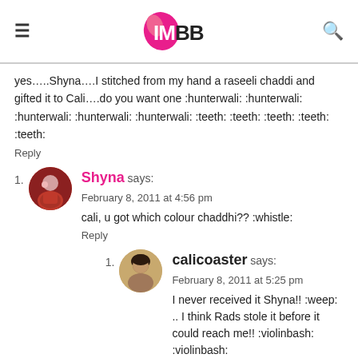IMBB
yes…..Shyna….I stitched from my hand a raseeli chaddi and gifted it to Cali….do you want one :hunterwali: :hunterwali: :hunterwali: :hunterwali: :hunterwali: :teeth: :teeth: :teeth: :teeth: :teeth:
Reply
Shyna says: February 8, 2011 at 4:56 pm
cali, u got which colour chaddhi?? :whistle:
Reply
calicoaster says: February 8, 2011 at 5:25 pm
I never received it Shyna!! :weep: .. I think Rads stole it before it could reach me!! :violinbash: :violinbash: